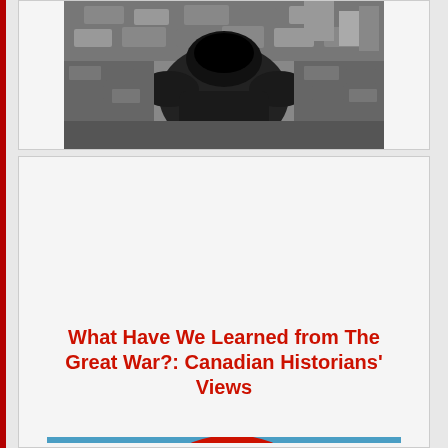[Figure (photo): Black and white photograph of a person viewed from above, wearing a military or period coat, surrounded by cobblestones or rubble]
What Have We Learned from The Great War?: Canadian Historians' Views
[Figure (illustration): Painting or poster of a large red poppy with a black center on a blue background, displayed as a book cover or artwork]